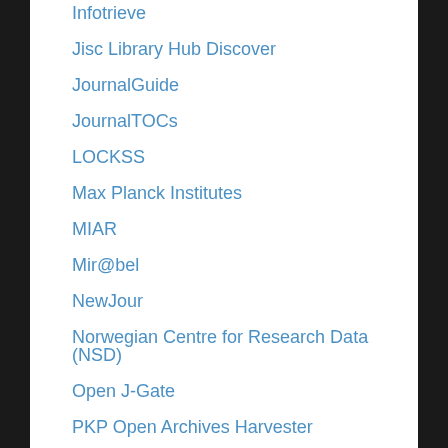Infotrieve
Jisc Library Hub Discover
JournalGuide
JournalTOCs
LOCKSS
Max Planck Institutes
MIAR
Mir@bel
NewJour
Norwegian Centre for Research Data (NSD)
Open J-Gate
PKP Open Archives Harvester
Pollution Abstracts
Publons
Pubmed journal list
RePEc
ROAD
SafetyLit
Scilit